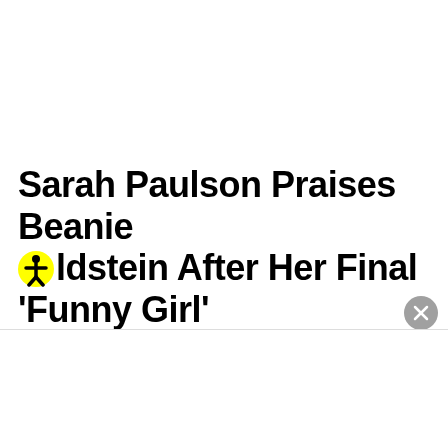Sarah Paulson Praises Beanie Feldstein After Her Final 'Funny Girl'